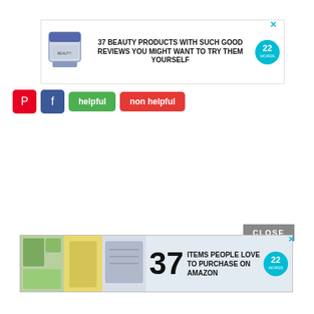[Figure (screenshot): Top advertisement banner showing a beauty product jar image on left, bold text '37 BEAUTY PRODUCTS WITH SUCH GOOD REVIEWS YOU MIGHT WANT TO TRY THEM YOURSELF', and 22 Words logo on right with close X]
[Figure (screenshot): Social sharing buttons: Pinterest (red), Facebook (blue), green 'helpful' button, red 'non helpful' button]
[Figure (screenshot): CLOSE bar button in gray]
[Figure (screenshot): Bottom advertisement banner showing lifestyle images, large '37' number, text 'ITEMS PEOPLE LOVE TO PURCHASE ON AMAZON', and 22 Words logo]